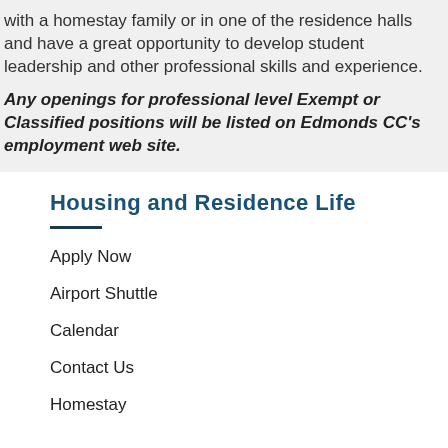with a homestay family or in one of the residence halls and have a great opportunity to develop student leadership and other professional skills and experience.
Any openings for professional level Exempt or Classified positions will be listed on Edmonds CC's employment web site.
Housing and Residence Life
Apply Now
Airport Shuttle
Calendar
Contact Us
Homestay